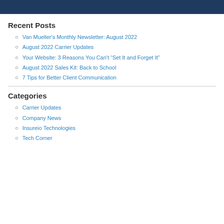[Figure (other): Dark navy blue banner bar at top of page]
Recent Posts
Van Mueller's Monthly Newsletter: August 2022
August 2022 Carrier Updates
Your Website: 3 Reasons You Can't “Set It and Forget It”
August 2022 Sales Kit: Back to School
7 Tips for Better Client Communication
Categories
Carrier Updates
Company News
Insureio Technologies
Tech Corner